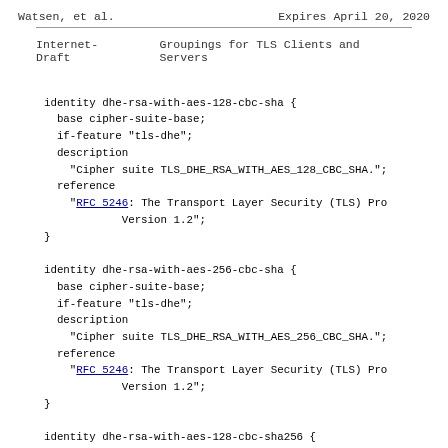Watsen, et al.    Expires April 20, 2020
Internet-Draft    Groupings for TLS Clients and Servers
identity dhe-rsa-with-aes-128-cbc-sha {
  base cipher-suite-base;
  if-feature "tls-dhe";
  description
    "Cipher suite TLS_DHE_RSA_WITH_AES_128_CBC_SHA.";
  reference
    "RFC 5246: The Transport Layer Security (TLS) Pro
              Version 1.2";
}
identity dhe-rsa-with-aes-256-cbc-sha {
  base cipher-suite-base;
  if-feature "tls-dhe";
  description
    "Cipher suite TLS_DHE_RSA_WITH_AES_256_CBC_SHA.";
  reference
    "RFC 5246: The Transport Layer Security (TLS) Pro
              Version 1.2";
}
identity dhe-rsa-with-aes-128-cbc-sha256 {
  base cipher-suite-base;
  if-feature "tls-dhe and tls-sha2";